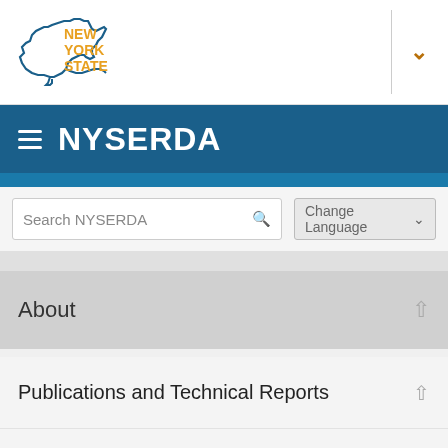[Figure (logo): New York State logo with outline map of NY state and text NEW YORK STATE in orange/gold, followed by a chevron/dropdown indicator]
NYSERDA
Search NYSERDA
Change Language
About
Publications and Technical Reports
Program Planning, Status Reports
BACK TO TOP
Clean Energy Fund Reports